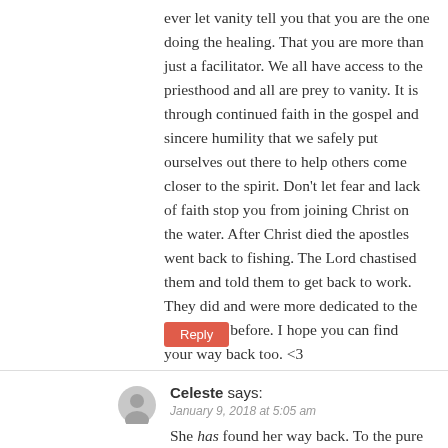ever let vanity tell you that you are the one doing the healing. That you are more than just a facilitator. We all have access to the priesthood and all are prey to vanity. It is through continued faith in the gospel and sincere humility that we safely put ourselves out there to help others come closer to the spirit. Don't let fear and lack of faith stop you from joining Christ on the water. After Christ died the apostles went back to fishing. The Lord chastised them and told them to get back to work. They did and were more dedicated to the work than before. I hope you can find your way back too. <3
Reply
Celeste says:
January 9, 2018 at 5:05 am
She has found her way back. To the pure gospel